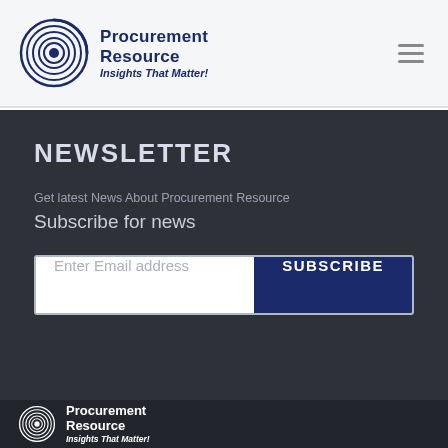Procurement Resource — Insights That Matter!
NEWSLETTER
Get latest News About Procurement Resource
Subscribe for news
Enter Email address
SUBSCRIBE
Procurement Resource — Insights That Matter!